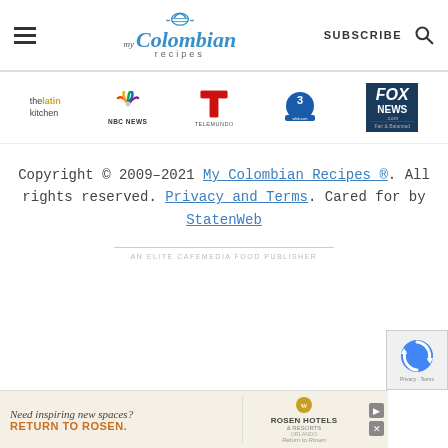My Colombian Recipes — SUBSCRIBE
[Figure (logo): Media logos: The Latin Kitchen, NBC News, Telemundo, WFSB.com, Fox News Fair and Balanced]
Copyright © 2009–2021 My Colombian Recipes ®. All rights reserved. Privacy and Terms. Cared for by StatenWeb
AN ELITE CAFEMEDIA FOOD PUBLISHER
[Figure (photo): Rosen Hotels & Resorts advertisement: Need inspiring new spaces? RETURN TO ROSEN.]